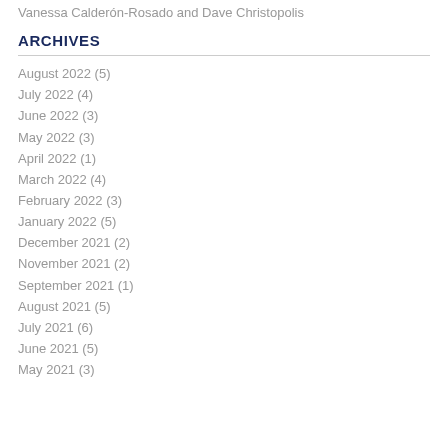Vanessa Calderón-Rosado and Dave Christopolis
ARCHIVES
August 2022 (5)
July 2022 (4)
June 2022 (3)
May 2022 (3)
April 2022 (1)
March 2022 (4)
February 2022 (3)
January 2022 (5)
December 2021 (2)
November 2021 (2)
September 2021 (1)
August 2021 (5)
July 2021 (6)
June 2021 (5)
May 2021 (3)